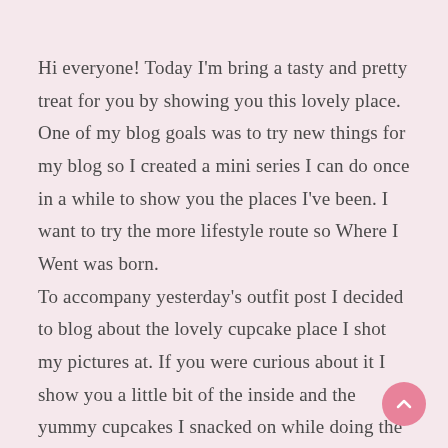Hi everyone! Today I'm bring a tasty and pretty treat for you by showing you this lovely place. One of my blog goals was to try new things for my blog so I created a mini series I can do once in a while to show you the places I've been. I want to try the more lifestyle route so Where I Went was born.
To accompany yesterday's outfit post I decided to blog about the lovely cupcake place I shot my pictures at. If you were curious about it I show you a little bit of the inside and the yummy cupcakes I snacked on while doing the photo shoot for my styling class and my outfit pictures for the blog.